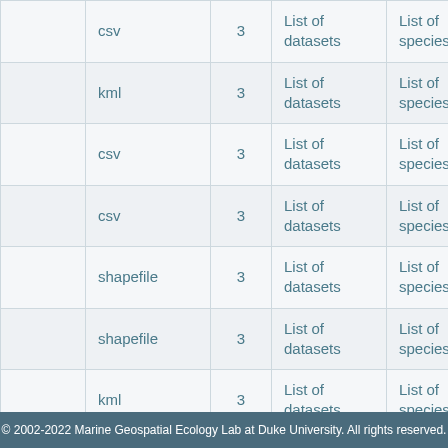|  | format | count | datasets | species | id |
| --- | --- | --- | --- | --- | --- |
|  | csv | 3 | List of datasets | List of species | 61b24c8cc... |
|  | kml | 3 | List of datasets | List of species | 619decaf2b... |
|  | csv | 3 | List of datasets | List of species | 619c145361... |
|  | csv | 3 | List of datasets | List of species | 6198699fb2... |
|  | shapefile | 3 | List of datasets | List of species | 617216386... |
|  | shapefile | 3 | List of datasets | List of species | 616989ba9... |
|  | kml | 3 | List of datasets | List of species | 6165c9e0be... |
|  | kml | 3 | List of datasets | List of species | 6165c9e0be... |
|  | kml | 3 | List of datasets | List of species | 6165c9e0be... |
|  | kml | 3 | List of datasets | List of species | 6165c9e0be... |
© 2002-2022 Marine Geospatial Ecology Lab at Duke University. All rights reserved.